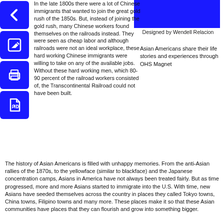[Figure (illustration): Blue rectangle image at top right]
Designed by Wendell Relacion
Asian Americans share their life stories and experiences through OHS Magnet
[Figure (illustration): Blue square icon with left arrow]
[Figure (illustration): Blue square icon with edit/pencil symbol]
[Figure (illustration): Blue square icon with printer symbol]
[Figure (illustration): Blue square icon with PDF document symbol]
In the late 1800s there were a lot of Chinese immigrants that wanted to join the great gold rush of the 1850s. But, instead of joining the gold rush, many Chinese workers found themselves on the railroads instead. They were seen as cheap labor and although railroads were not an ideal workplace, these hard working Chinese immigrants were willing to take on any of the available jobs. Without these hard working men, which 80-90 percent of the railroad workers consisted of, the Transcontinental Railroad could not have been built.
The history of Asian Americans is filled with unhappy memories. From the anti-Asian rallies of the 1870s, to the yellowface (similar to blackface) and the Japanese concentration camps, Asians in America have not always been treated fairly. But as time progressed, more and more Asians started to immigrate into the U.S. With time, new Asians have seeded themselves across the country in places they called Tokyo towns, China towns, Filipino towns and many more. These places make it so that these Asian communities have places that they can flourish and grow into something bigger.